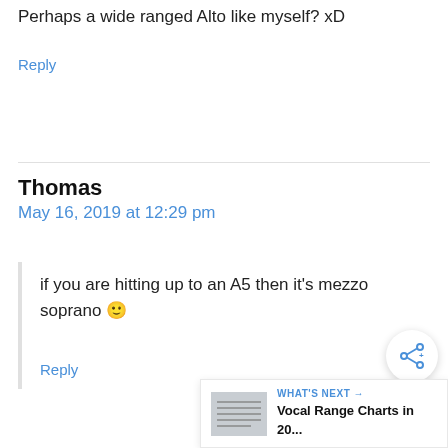Perhaps a wide ranged Alto like myself? xD
Reply
Thomas
May 16, 2019 at 12:29 pm
if you are hitting up to an A5 then it's mezzo soprano 🙂
Reply
[Figure (other): Share button overlay (circular icon with share symbol)]
[Figure (other): What's Next widget showing thumbnail and title 'Vocal Range Charts in 20...']